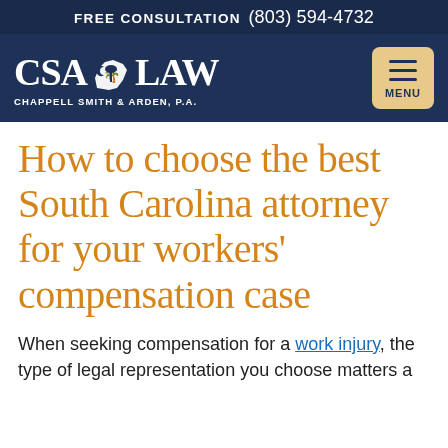FREE CONSULTATION (803) 594-4732
[Figure (logo): CSA Law - Chappell Smith & Arden, P.A. logo on dark navy background with South Carolina state outline icon, plus hamburger menu button]
How to choose the best South Carolina attorney for your workers' compensation case
When seeking compensation for a work injury, the type of legal representation you choose matters a